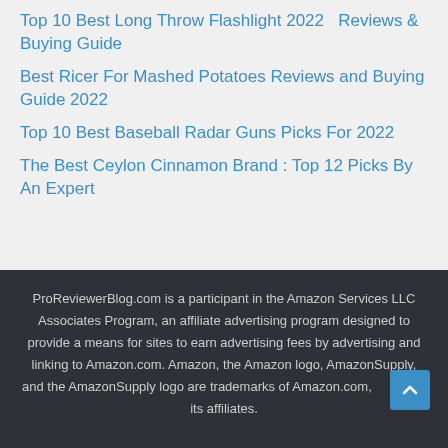Top 10 Best Long Throw Flashlight 2022 – Reviews & Buying Guide
Best Ricer For Mashed Potatoes Reviews and Buying Guide 2022
Top 10 Best Baseball Radar Guns Picks For 2022
The Best Ceylon Cinnamon Brand : Top 12 Picks By An Expert
ProReviewerBlog.com is a participant in the Amazon Services LLC Associates Program, an affiliate advertising program designed to provide a means for sites to earn advertising fees by advertising and linking to Amazon.com. Amazon, the Amazon logo, AmazonSupply, and the AmazonSupply logo are trademarks of Amazon.com, or its affiliates.